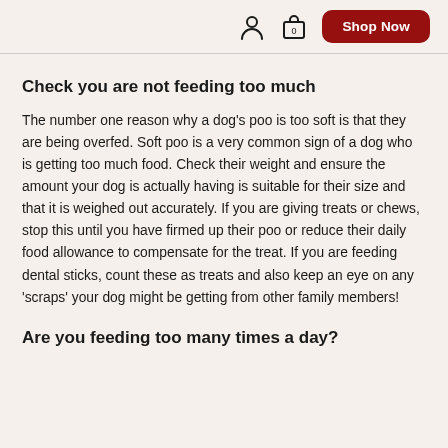Shop Now
Check you are not feeding too much
The number one reason why a dog's poo is too soft is that they are being overfed. Soft poo is a very common sign of a dog who is getting too much food. Check their weight and ensure the amount your dog is actually having is suitable for their size and that it is weighed out accurately. If you are giving treats or chews, stop this until you have firmed up their poo or reduce their daily food allowance to compensate for the treat. If you are feeding dental sticks, count these as treats and also keep an eye on any 'scraps' your dog might be getting from other family members!
Are you feeding too many times a day?